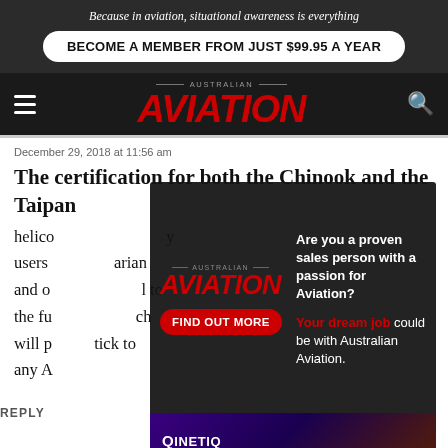Because in aviation, situational awareness is everything
BECOME A MEMBER FROM JUST $99.95 A YEAR
AUSTRALIAN AVIATION
December 29, 2018 at 11:56 am
The certification for both the Chinook and the Taipan helicopters...
Are you a proven sales person with a passion for Aviation? Your dream job could be with Australian Aviation.
FIND OUT MORE
[Figure (other): QinetiQ advertisement - Enabling critical UAS technologies]
REPLY